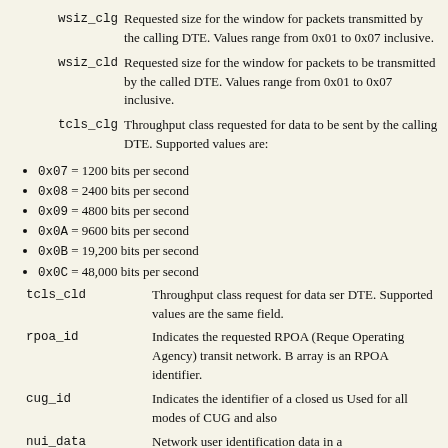wsiz_clg: Requested size for the window for packets transmitted by the calling DTE. Values range from 0x01 to 0x07 inclusive.
wsiz_cld: Requested size for the window for packets to be transmitted by the called DTE. Values range from 0x01 to 0x07 inclusive.
tcls_clg: Throughput class requested for data to be sent by the calling DTE. Supported values are:
0x07 = 1200 bits per second
0x08 = 2400 bits per second
0x09 = 4800 bits per second
0x0A = 9600 bits per second
0x0B = 19,200 bits per second
0x0C = 48,000 bits per second
tcls_cld: Throughput class request for data sent by the called DTE. Supported values are the same as for the tcls_clg field.
rpoa_id: Indicates the requested RPOA (Recognized Private Operating Agency) transit network. Each element of the array is an RPOA identifier.
cug_id: Indicates the identifier of a closed user group. Used for all modes of CUG and also...
nui_data: Network user identification data in a...